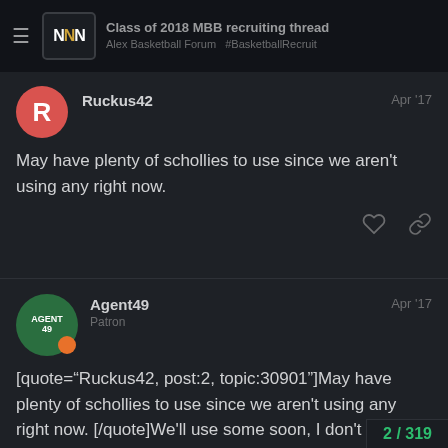Class of 2018 MBB recruiting thread - Alex Basketball Forum - #BasketballRecruit
Ruckus42
Apr '17
May have plenty of schollies to use since we aren't using any right now.
Agent49
Patron
Apr '17
[quote="Ruckus42, post:2, topic:30901"]May have plenty of schollies to use since we aren't using any right now. [/quote]We'll use some soon, I don't know that we use all 6.
2/319